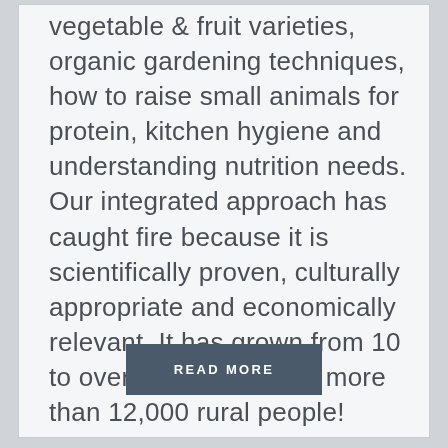vegetable & fruit varieties, organic gardening techniques, how to raise small animals for protein, kitchen hygiene and understanding nutrition needs. Our integrated approach has caught fire because it is scientifically proven, culturally appropriate and economically relevant. It has grown from 10 to over 1,550 families - more than 12,000 rural people!
READ MORE